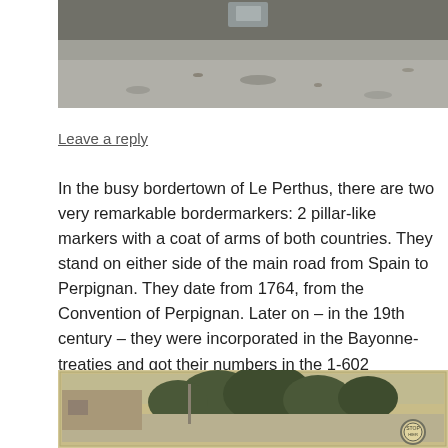[Figure (photo): Partial view of a photo showing gravel/sand surface with some object at top]
Leave a reply
In the busy bordertown of Le Perthus, there are two very remarkable bordermarkers: 2 pillar-like markers with a coat of arms of both countries. They stand on either side of the main road from Spain to Perpignan. They date from 1764, from the Convention of Perpignan. Later on – in the 19th century – they were incorporated in the Bayonne-treaties and got their numbers in the 1-602 sequence: 574 and 575.
[Figure (photo): Vintage/historical black and white postcard photo showing trees, a street, buildings, and a circular sign in the bottom right corner]